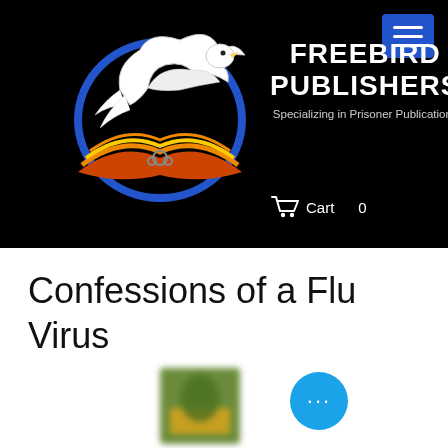[Figure (logo): Freebird Publishers website header banner on black background with a white dove logo over an open book with colorful pages, a blue circular ring, and a chain/lock. Text reads FREEBIRD PUBLISHERS, Specializing in Prisoner Publications. A hamburger menu button in blue is in the top right. A cart icon and the word Cart appear at the bottom right of the banner.]
Confessions of a Flu Virus
[Figure (photo): Partial view of a blurred book cover thumbnail (green and yellow tones) and a round blue chat/more button with three dots.]